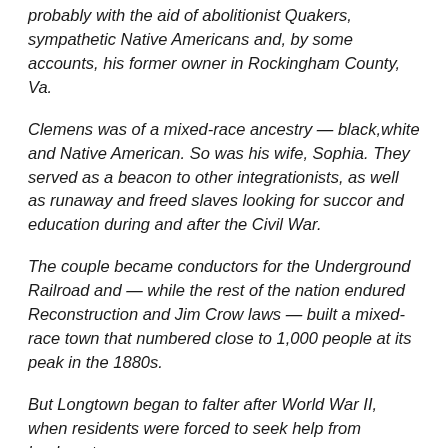probably with the aid of abolitionist Quakers, sympathetic Native Americans and, by some accounts, his former owner in Rockingham County, Va.
Clemens was of a mixed-race ancestry — black,white and Native American. So was his wife, Sophia. They served as a beacon to other integrationists, as well as runaway and freed slaves looking for succor and education during and after the Civil War.
The couple became conductors for the Underground Railroad and — while the rest of the nation endured Reconstruction and Jim Crow laws — built a mixed-race town that numbered close to 1,000 people at its peak in the 1880s.
But Longtown began to falter after World War II, when residents were forced to seek help from bankers to